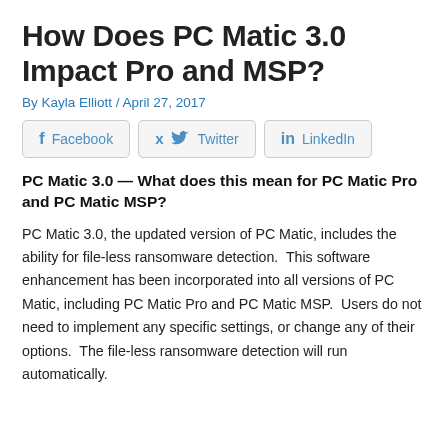How Does PC Matic 3.0 Impact Pro and MSP?
By Kayla Elliott / April 27, 2017
[Figure (other): Social sharing buttons for Facebook, Twitter, and LinkedIn]
PC Matic 3.0 — What does this mean for PC Matic Pro and PC Matic MSP?
PC Matic 3.0, the updated version of PC Matic, includes the ability for file-less ransomware detection.  This software enhancement has been incorporated into all versions of PC Matic, including PC Matic Pro and PC Matic MSP.  Users do not need to implement any specific settings, or change any of their options.  The file-less ransomware detection will run automatically.